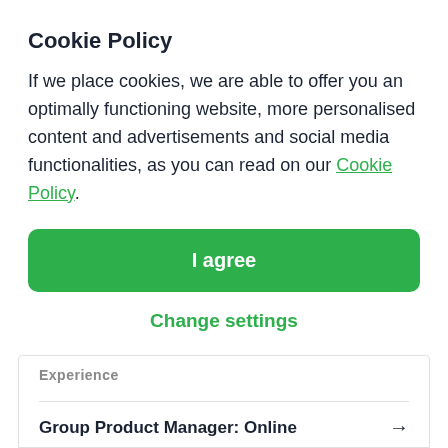Cookie Policy
If we place cookies, we are able to offer you an optimally functioning website, more personalised content and advertisements and social media functionalities, as you can read on our Cookie Policy.
I agree
Change settings
Experience
Group Product Manager: Online →